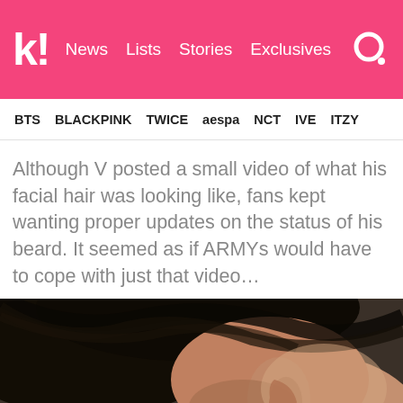k! News  Lists  Stories  Exclusives
BTS  BLACKPINK  TWICE  aespa  NCT  IVE  ITZY
Although V posted a small video of what his facial hair was looking like, fans kept wanting proper updates on the status of his beard. It seemed as if ARMYs would have to cope with just that video…
[Figure (photo): Close-up photo of a person's ear, jaw, and neck area showing dark hair, with warm skin tones against a dark background.]